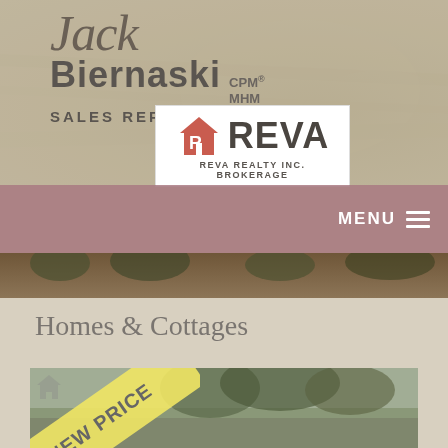[Figure (logo): Jack Biernaski CPM MHM Sales Representative logo with REVA Realty Inc. Brokerage logo on beige/taupe background]
MENU
Homes & Cottages
[Figure (photo): Property listing photo with NEW PRICE yellow ribbon banner in the bottom left corner, showing trees and a house]